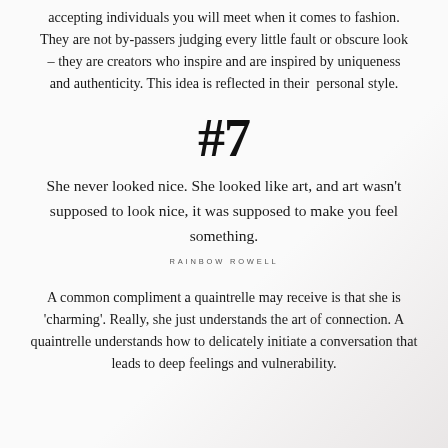accepting individuals you will meet when it comes to fashion. They are not by-passers judging every little fault or obscure look – they are creators who inspire and are inspired by uniqueness and authenticity. This idea is reflected in their personal style.
#7
She never looked nice. She looked like art, and art wasn't supposed to look nice, it was supposed to make you feel something.
RAINBOW ROWELL
A common compliment a quaintrelle may receive is that she is 'charming'. Really, she just understands the art of connection. A quaintrelle understands how to delicately initiate a conversation that leads to deep feelings and vulnerability.